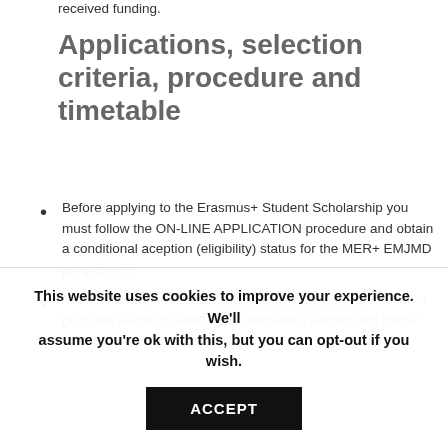received funding.
Applications, selection criteria, procedure and timetable
Before applying to the Erasmus+ Student Scholarship you must follow the ON-LINE APPLICATION procedure and obtain a conditional aception (eligibility) status for the MER+ EMJMD programme.
Then, following the same ON-LINE APPLICATION procedure go to the GRANTS AND FELLOWSHIPS section and follow the instructions provided in THE
This website uses cookies to improve your experience. We'll assume you're ok with this, but you can opt-out if you wish. ACCEPT